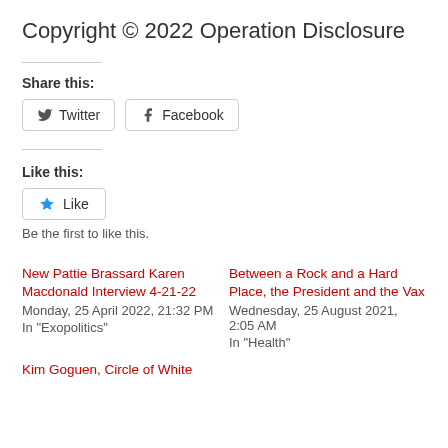Copyright © 2022 Operation Disclosure
Share this:
Twitter  Facebook
Like this:
Like
Be the first to like this.
New Pattie Brassard Karen Macdonald Interview 4-21-22
Monday, 25 April 2022, 21:32 PM
In "Exopolitics"
Between a Rock and a Hard Place, the President and the Vax
Wednesday, 25 August 2021, 2:05 AM
In "Health"
Kim Goguen, Circle of White